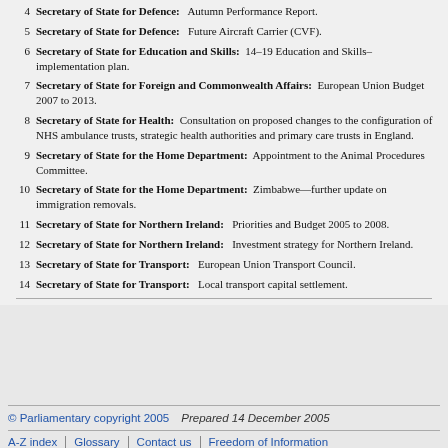4 Secretary of State for Defence: Autumn Performance Report.
5 Secretary of State for Defence: Future Aircraft Carrier (CVF).
6 Secretary of State for Education and Skills: 14–19 Education and Skills– implementation plan.
7 Secretary of State for Foreign and Commonwealth Affairs: European Union Budget 2007 to 2013.
8 Secretary of State for Health: Consultation on proposed changes to the configuration of NHS ambulance trusts, strategic health authorities and primary care trusts in England.
9 Secretary of State for the Home Department: Appointment to the Animal Procedures Committee.
10 Secretary of State for the Home Department: Zimbabwe—further update on immigration removals.
11 Secretary of State for Northern Ireland: Priorities and Budget 2005 to 2008.
12 Secretary of State for Northern Ireland: Investment strategy for Northern Ireland.
13 Secretary of State for Transport: European Union Transport Council.
14 Secretary of State for Transport: Local transport capital settlement.
© Parliamentary copyright 2005   Prepared 14 December 2005
A-Z index | Glossary | Contact us | Freedom of Information